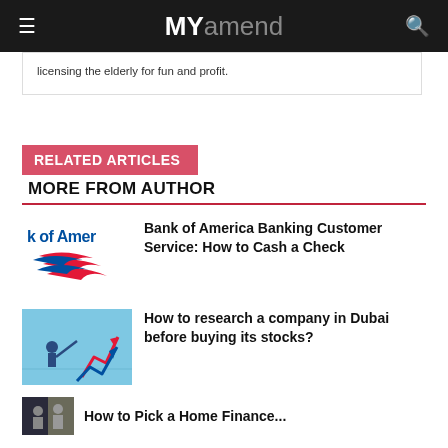MYamend
licensing the elderly for fun and profit.
RELATED ARTICLES
MORE FROM AUTHOR
[Figure (logo): Bank of America logo — 'k of Amer' text visible with red and blue swoosh]
Bank of America Banking Customer Service: How to Cash a Check
[Figure (illustration): Blue background illustration of a businessman pointing at upward trending red and blue arrow chart]
How to research a company in Dubai before buying its stocks?
[Figure (photo): Partial thumbnail photo, dark toned]
How to Pick a Home Finance...